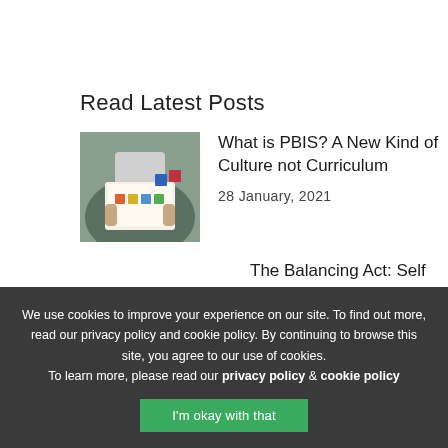Read Latest Posts
[Figure (photo): Person holding a board with colorful educational blocks/pieces, child learning activity photo]
What is PBIS? A New Kind of Culture not Curriculum
28 January, 2021
The Balancing Act: Self Care vs Community Care
We use cookies to improve your experience on our site. To find out more, read our privacy policy and cookie policy. By continuing to browse this site, you agree to our use of cookies. To learn more, please read our privacy policy & cookie policy
I'm okay with that